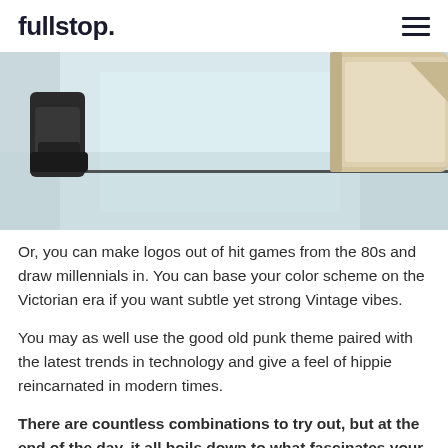fullstop.
[Figure (photo): Close-up photo of a desk surface with a dark stapler on the left and a beige/tan notebook or notepad partially visible on the right, light blue-grey toned background]
Or, you can make logos out of hit games from the 80s and draw millennials in. You can base your color scheme on the Victorian era if you want subtle yet strong Vintage vibes.
You may as well use the good old punk theme paired with the latest trends in technology and give a feel of hippie reincarnated in modern times.
There are countless combinations to try out, but at the end of the day, it all boils down to what fascinates your target